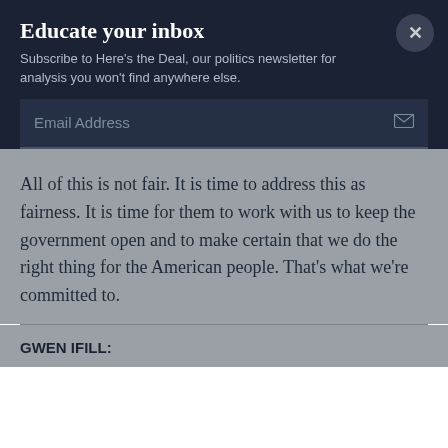Educate your inbox
Subscribe to Here's the Deal, our politics newsletter for analysis you won't find anywhere else.
Email Address
All of this is not fair. It is time to address this as fairness. It is time for them to work with us to keep the government open and to make certain that we do the right thing for the American people. That's what we're committed to.
GWEN IFILL: